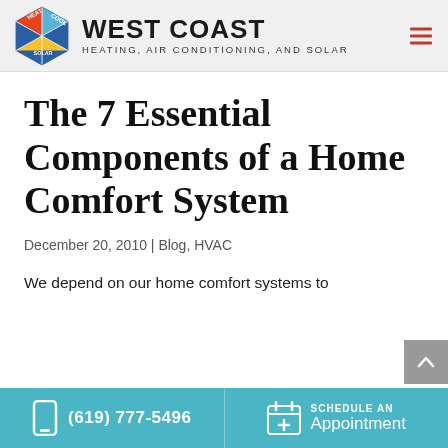WEST COAST HEATING, AIR CONDITIONING, AND SOLAR
The 7 Essential Components of a Home Comfort System
December 20, 2010 | Blog, HVAC
We depend on our home comfort systems to
(619) 777-5496 | SCHEDULE AN Appointment